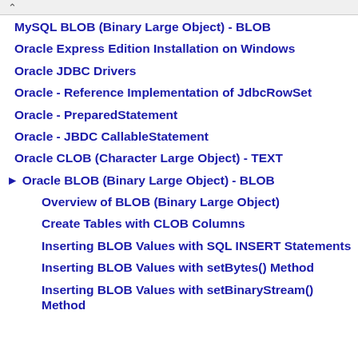MySQL BLOB (Binary Large Object) - BLOB
Oracle Express Edition Installation on Windows
Oracle JDBC Drivers
Oracle - Reference Implementation of JdbcRowSet
Oracle - PreparedStatement
Oracle - JBDC CallableStatement
Oracle CLOB (Character Large Object) - TEXT
► Oracle BLOB (Binary Large Object) - BLOB
Overview of BLOB (Binary Large Object)
Create Tables with CLOB Columns
Inserting BLOB Values with SQL INSERT Statements
Inserting BLOB Values with setBytes() Method
Inserting BLOB Values with setBinaryStream() Method